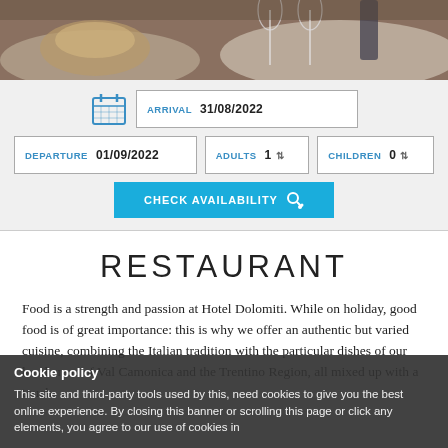[Figure (photo): Restaurant table setting photo banner showing bread, wine glasses, and white tablecloth]
ARRIVAL 31/08/2022
DEPARTURE 01/09/2022    ADULTS 1    CHILDREN 0
CHECK AVAILABILITY
RESTAURANT
Food is a strength and passion at Hotel Dolomiti. While on holiday, good food is of great importance: this is why we offer an authentic but varied cuisine, combining the Italian tradition with the particular dishes of our local areas of Val Camonica and the Trentino Region, all mixed up with a touch of creativity. Along with a full and varied breakfast, our dining room offers a superb à la carte menu available on
Cookie policy
This site and third-party tools used by this, need cookies to give you the best online experience. By closing this banner or scrolling this page or click any elements, you agree to our use of cookies in